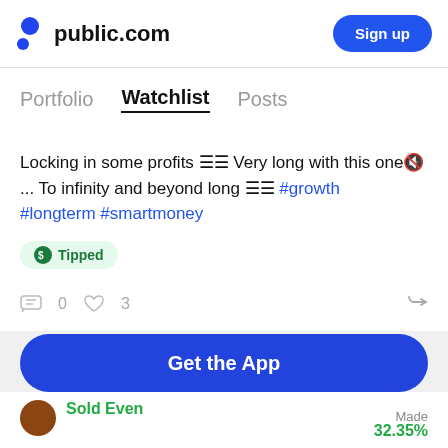public.com  Sign up
Portfolio  Watchlist  Posts
Locking in some profits 🗒🗒 Very long with this one🤫 ... To infinity and beyond long 🗒🗒 #growth #longterm #smartmoney
$ Tipped
0  3
Get the App
Sold Even
Made 32.35%